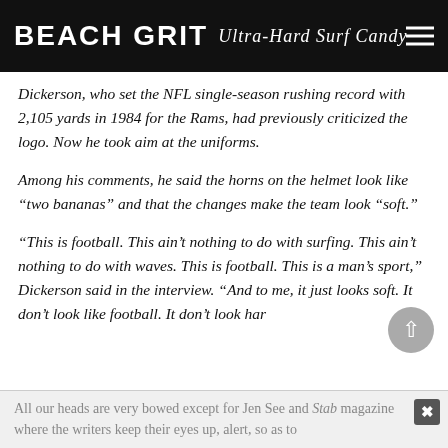BEACH GRIT Ultra-Hard Surf Candy
Dickerson, who set the NFL single-season rushing record with 2,105 yards in 1984 for the Rams, had previously criticized the logo. Now he took aim at the uniforms.
Among his comments, he said the horns on the helmet look like “two bananas” and that the changes make the team look “soft.”
“This is football. This ain’t nothing to do with surfing. This ain’t nothing to do with waves. This is football. This is a man’s sport,” Dickerson said in the interview. “And to me, it just looks soft. It don’t look like football. It don’t look har…
All our heads are very bowed except for Jen See and Stab magazine where the writers keep their eyes up, alert, so as to